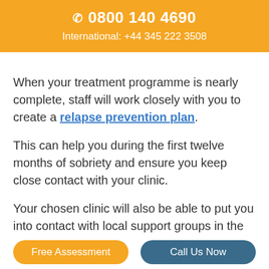☎ 0800 140 4690
International: +44 345 222 3508
When your treatment programme is nearly complete, staff will work closely with you to create a relapse prevention plan.
This can help you during the first twelve months of sobriety and ensure you keep close contact with your clinic.
Your chosen clinic will also be able to put you into contact with local support groups in the Wooler area such as Alcoholics Anonymous and Narcotics
Free Assessment    Call Us Now